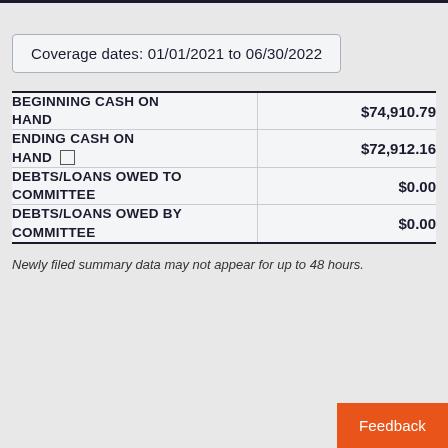Coverage dates: 01/01/2021 to 06/30/2022
|  |  |
| --- | --- |
| BEGINNING CASH ON HAND | $74,910.79 |
| ENDING CASH ON HAND | $72,912.16 |
| DEBTS/LOANS OWED TO COMMITTEE | $0.00 |
| DEBTS/LOANS OWED BY COMMITTEE | $0.00 |
Newly filed summary data may not appear for up to 48 hours.